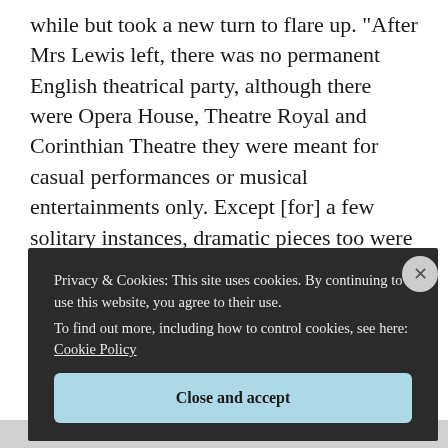while but took a new turn to flare up. “After Mrs Lewis left, there was no permanent English theatrical party, although there were Opera House, Theatre Royal and Corinthian Theatre they were meant for casual performances or musical entertainments only. Except [for] a few solitary instances, dramatic pieces too were either light comedies or farces which could not approach the high standard of comic representations where Ardhendu Sekhar or Bel Babu, Khetromoni or
Privacy & Cookies: This site uses cookies. By continuing to use this website, you agree to their use.
To find out more, including how to control cookies, see here: Cookie Policy
Close and accept